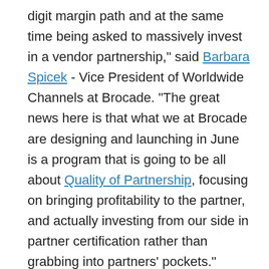digit margin path and at the same time being asked to massively invest in a vendor partnership," said Barbara Spicek - Vice President of Worldwide Channels at Brocade. "The great news here is that what we at Brocade are designing and launching in June is a program that is going to be all about Quality of Partnership, focusing on bringing profitability to the partner, and actually investing from our side in partner certification rather than grabbing into partners' pockets." Simultaneously, Cisco has also focused on its channel partner profitability. Ken Presti a channel partner consulting expert noted: "Cisco has rolled out new incentives aimed at encouraging channel partners to more actively hunt routing and switching sales opportunities." Presti also revealed that Cisco's